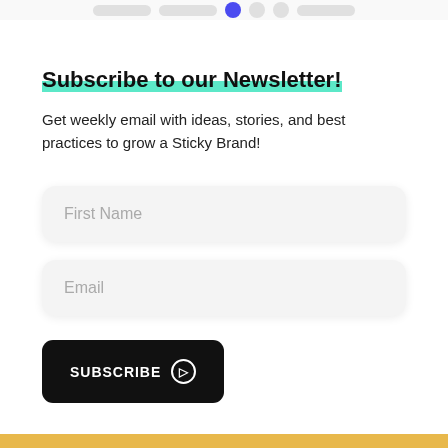Subscribe to our Newsletter!
Get weekly email with ideas, stories, and best practices to grow a Sticky Brand!
[Figure (screenshot): First Name input field with rounded rectangle styling and light gray background]
[Figure (screenshot): Email input field with rounded rectangle styling and light gray background]
[Figure (screenshot): SUBSCRIBE button with black background, white uppercase text and circle arrow icon]